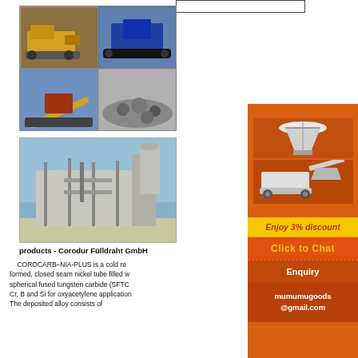[Figure (photo): Grid of four photos showing mining/quarrying equipment: bulldozer on left, blue tracked crusher top right, conveyor/crusher system bottom left, pile of crushed stone bottom right]
[Figure (photo): Industrial building with steel structure, walkways, stairs, and silos — processing plant facility]
products - Corodur Fülldraht GmbH
COROCARB–NIA-PLUS is a cold re formed, closed seam nickel tube filled w spherical fused tungsten carbide (SFTC Cr, B and Si for oxyacetylene application The deposited alloy consists of approximately 65% SFTC and 65% Ni-Cr-B...
[Figure (infographic): Orange sidebar advertisement showing mining crusher equipment images, 'Enjoy 3% discount' yellow bar, 'Click to Chat' yellow text button, 'Enquiry' section, 'mumumugoods @gmail.com' contact email]